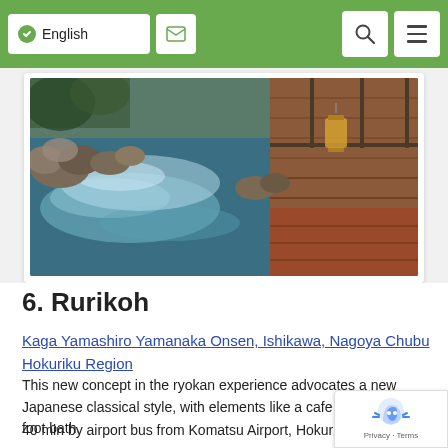English
[Figure (photo): Outdoor onsen (hot spring bath) with natural rocks, wooden deck and blue-green water reflecting sky, with lantern lighting]
6.  Rurikoh
Kaga Yamashiro Yamanaka Onsen, Ishikawa, Nagoya Chubu Hokuriku Region
This new concept in the ryokan experience advocates a new Japanese classical style, with elements like a cafe that includes a foot bath.
40 min by airport bus from Komatsu Airport, Hokuriku's Kanazaw